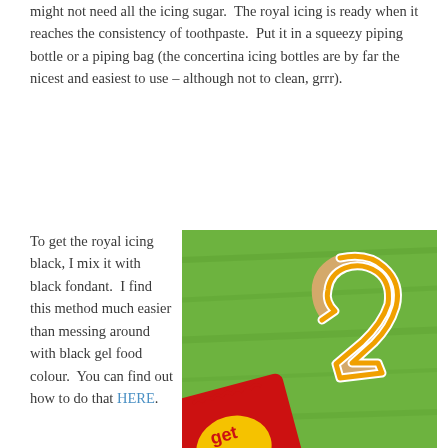might not need all the icing sugar.  The royal icing is ready when it reaches the consistency of toothpaste.  Put it in a squeezy piping bottle or a piping bag (the concertina icing bottles are by far the nicest and easiest to use – although not to clean, grrr).
To get the royal icing black, I mix it with black fondant.  I find this method much easier than messing around with black gel food colour.  You can find out how to do that HERE.
[Figure (photo): A number 2 shaped cookie decorated with white and orange royal icing on a green surface, next to a partially visible red and yellow candy packet.]